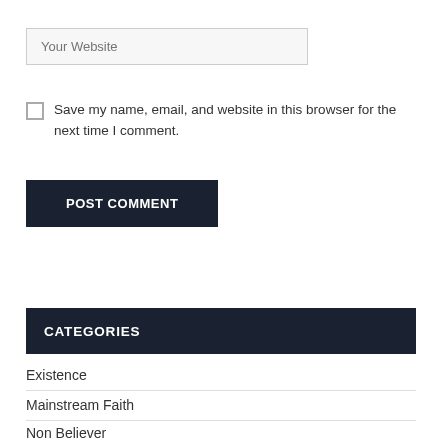[Figure (screenshot): Website URL input field with placeholder text 'Your Website', light gray background]
Save my name, email, and website in this browser for the next time I comment.
POST COMMENT
CATEGORIES
Existence
Mainstream Faith
Non Believer